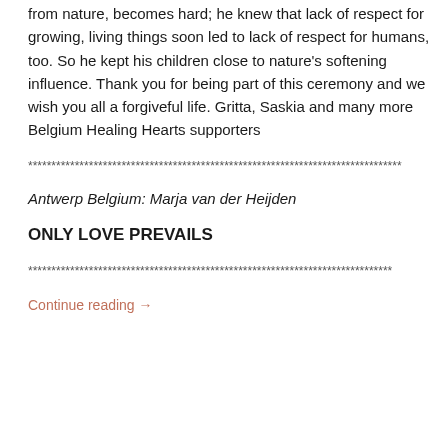from nature, becomes hard; he knew that lack of respect for growing, living things soon led to lack of respect for humans, too. So he kept his children close to nature's softening influence. Thank you for being part of this ceremony and we wish you all a forgiveful life. Gritta, Saskia and many more Belgium Healing Hearts supporters
********************************************************************************
Antwerp Belgium: Marja van der Heijden
ONLY LOVE PREVAILS
******************************************************************************
Continue reading →